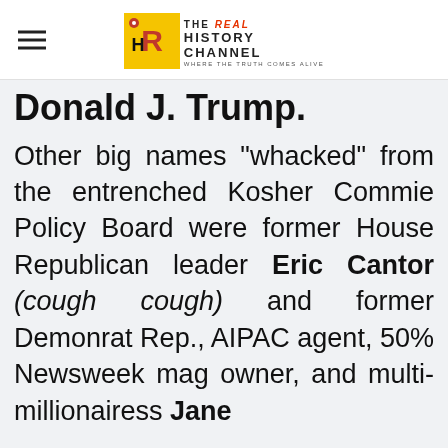The Real History Channel — WHERE THE TRUTH COMES ALIVE
Donald J. Trump.
Other big names "whacked" from the entrenched Kosher Commie Policy Board were former House Republican leader Eric Cantor (cough cough) and former Demonrat Rep., AIPAC agent, 50% Newsweek mag owner, and multi-millionairess Jane